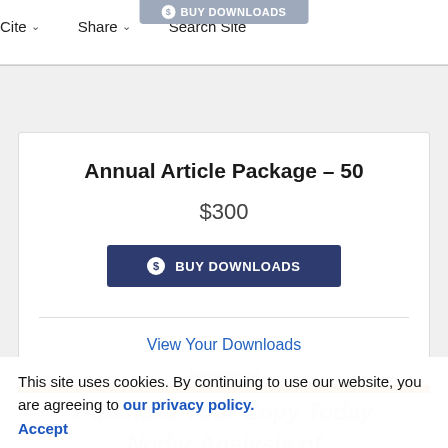BUY DOWNLOADS | Cite | Share | Search Site
Annual Article Package – 50
$300
BUY DOWNLOADS
View Your Downloads
Advertisement
This site uses cookies. By continuing to use our website, you are agreeing to our privacy policy. Accept